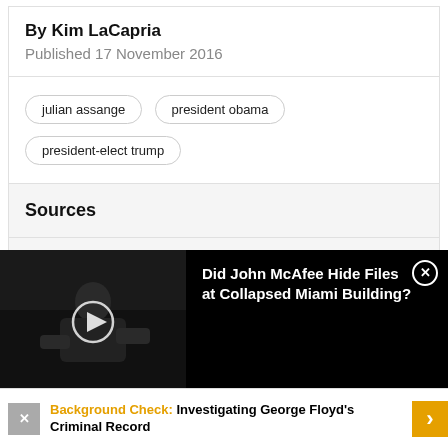By Kim LaCapria
Published 17 November 2016
julian assange
president obama
president-elect trump
Sources
[Figure (other): Video thumbnail showing a man seated on stage in dark clothing, with a video play button overlay. Text reads: Did John McAfee Hide Files at Collapsed Miami Building?]
Background Check: Investigating George Floyd's Criminal Record